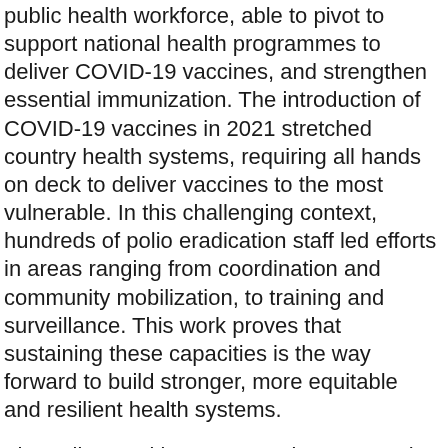public health workforce, able to pivot to support national health programmes to deliver COVID-19 vaccines, and strengthen essential immunization. The introduction of COVID-19 vaccines in 2021 stretched country health systems, requiring all hands on deck to deliver vaccines to the most vulnerable. In this challenging context, hundreds of polio eradication staff led efforts in areas ranging from coordination and community mobilization, to training and surveillance. This work proves that sustaining these capacities is the way forward to build stronger, more equitable and resilient health systems.
The polio transition process aims to sustain the workforce and infrastructure set up to eradicate polio to strengthen immunization programmes, protect against outbreaks, and deliver essential health services to communities. A 2020 report